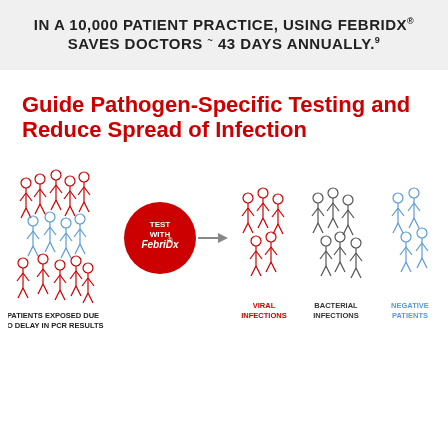IN A 10,000 PATIENT PRACTICE, USING FEBRIDX® SAVES DOCTORS ~ 43 DAYS ANNUALLY.⁹
Guide Pathogen-Specific Testing and Reduce Spread of Infection
[Figure (infographic): Infographic showing patients exposed due to delay in PCR results being tested with FebriDx and separated into viral infections (red group), bacterial infections (grey group), and negative patients (blue group).]
PATIENTS EXPOSED DUE TO DELAY IN PCR RESULTS
VIRAL INFECTIONS
BACTERIAL INFECTIONS
NEGATIVE PATIENTS